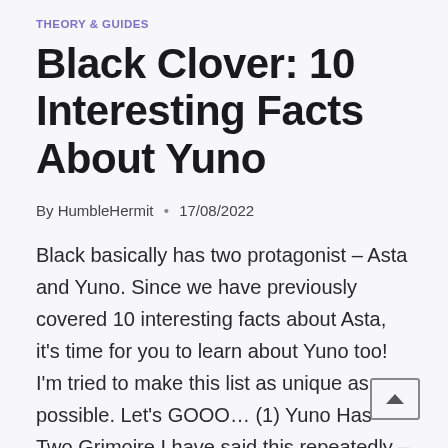THEORY & GUIDES
Black Clover: 10 Interesting Facts About Yuno
By HumbleHermit • 17/08/2022
Black basically has two protagonist – Asta and Yuno. Since we have previously covered 10 interesting facts about Asta, it's time for you to learn about Yuno too! I'm tried to make this list as unique as possible. Let's GOOO… (1) Yuno Has Two Grimoire I have said this repeatedly – Yuno is the